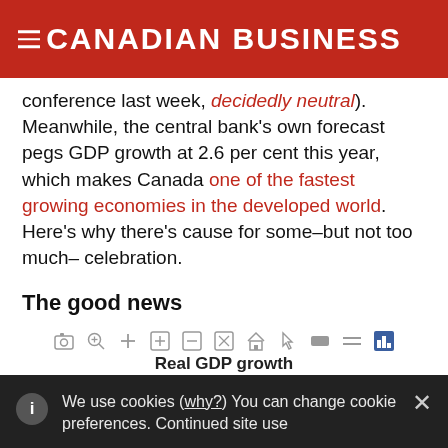CANADIAN BUSINESS
conference last week, "decidedly neutral"). Meanwhile, the central bank's own forecast pegs GDP growth at 2.6 per cent this year, which makes Canada one of the fastest growing economies in the developed world. Here's why there's cause for some–but not too much–celebration.
The good news
[Figure (other): Chart toolbar icons row above a chart titled Real GDP growth]
Real GDP growth
We use cookies (why?) You can change cookie preferences. Continued site use